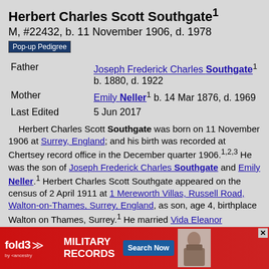Herbert Charles Scott Southgate¹
M, #22432, b. 11 November 1906, d. 1978
Pop-up Pedigree
| Father | Joseph Frederick Charles Southgate¹ b. 1880, d. 1922 |
| Mother | Emily Neller¹ b. 14 Mar 1876, d. 1969 |
| Last Edited | 5 Jun 2017 |
Herbert Charles Scott Southgate was born on 11 November 1906 at Surrey, England; and his birth was recorded at Chertsey record office in the December quarter 1906.¹˒²˒³ He was the son of Joseph Frederick Charles Southgate and Emily Neller.¹ Herbert Charles Scott Southgate appeared on the census of 2 April 1911 at 1 Mereworth Villas, Russell Road, Walton-on-Thames, Surrey, England, as son, age 4, birthplace Walton on Thames, Surrey.¹ He married Vida Eleanor Edwards in 1934 at Surrey, England; and their marriage was recorded at Surrey S W registration office in the September quarter 1935.⁴ ... at Cornwa... Cambor... quarter
[Figure (other): fold3 by ancestry MILITARY RECORDS advertisement banner with Search Now button and soldier photo]